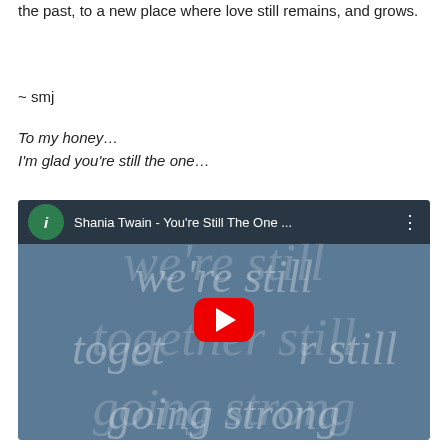the past, to a new place where love still remains, and grows.
~ smj
To my honey…
I'm glad you're still the one…
[Figure (screenshot): YouTube video embed showing Shania Twain - You're Still The One, with background text 'we're still together still going strong' and a red YouTube play button in the center]